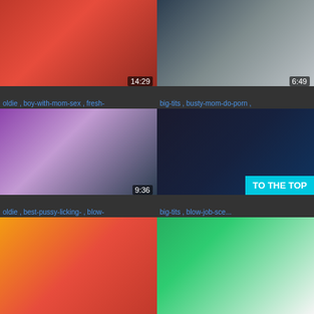[Figure (photo): Video thumbnail grid cell top-left, duration 14:29]
oldie , boy-with-mom-sex , fresh-
[Figure (photo): Video thumbnail grid cell top-right, duration 6:49]
big-tits , busty-mom-do-porn ,
[Figure (photo): Video thumbnail grid cell middle-left, duration 9:36]
oldie , best-pussy-licking- , blow-
[Figure (photo): Video thumbnail grid cell middle-right, duration 13:13]
big-tits , blow-job-sce...
[Figure (photo): Video thumbnail grid cell bottom-left, partial]
[Figure (photo): Video thumbnail grid cell bottom-right, partial]